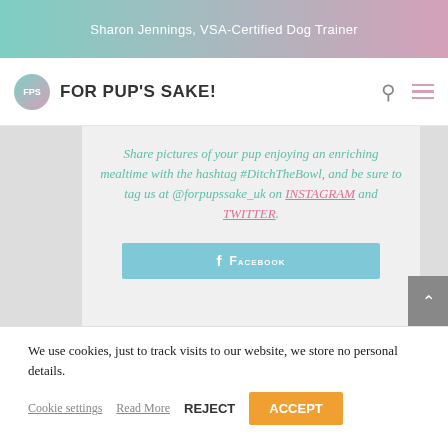Sharon Jennings, VSA-Certified Dog Trainer
FOR PUP'S SAKE!
Share pictures of your pup enjoying an enriching mealtime with the hashtag #DitchTheBowl, and be sure to tag us at @forpupssake_uk on INSTAGRAM and TWITTER.
FACEBOOK
We use cookies, just to track visits to our website, we store no personal details.
Cookie settings   Read More   REJECT   ACCEPT